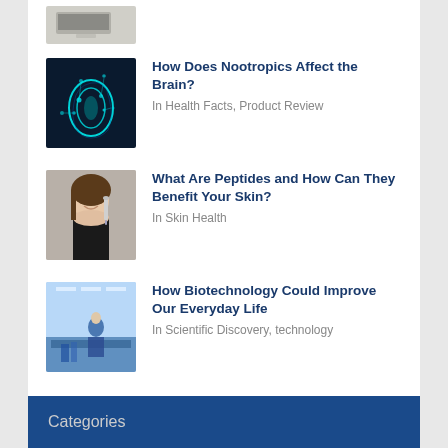[Figure (photo): Partial view of a laptop or product image, cropped at top]
How Does Nootropics Affect the Brain?
In Health Facts, Product Review
[Figure (photo): Digital illustration of a glowing human brain silhouette in teal/cyan on dark background]
What Are Peptides and How Can They Benefit Your Skin?
In Skin Health
[Figure (photo): Woman smiling holding a dropper/syringe near her face, skincare context]
How Biotechnology Could Improve Our Everyday Life
In Scientific Discovery, technology
[Figure (photo): Scientist working in a bright blue-tinted laboratory]
Categories